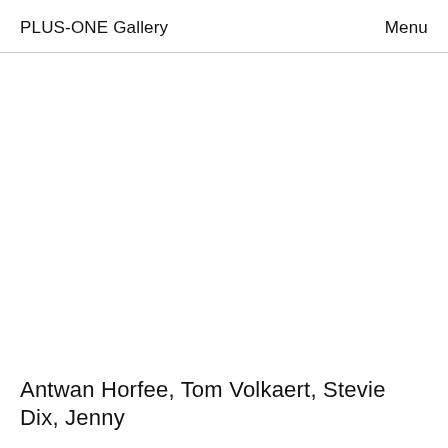PLUS-ONE Gallery    Menu
Antwan Horfee, Tom Volkaert, Stevie Dix, Jenny